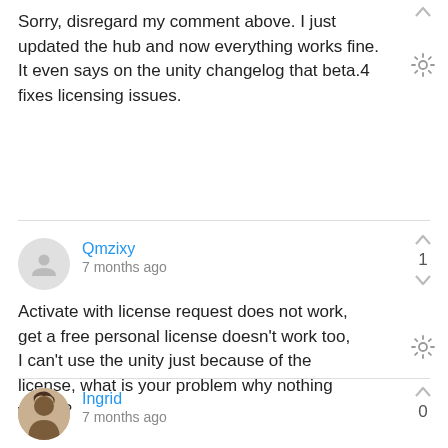Sorry, disregard my comment above. I just updated the hub and now everything works fine. It even says on the unity changelog that beta.4 fixes licensing issues.
Qmzixy
7 months ago
Activate with license request does not work, get a free personal license doesn't work too, I can't use the unity just because of the license, what is your problem why nothing works?
Ingrid
7 months ago